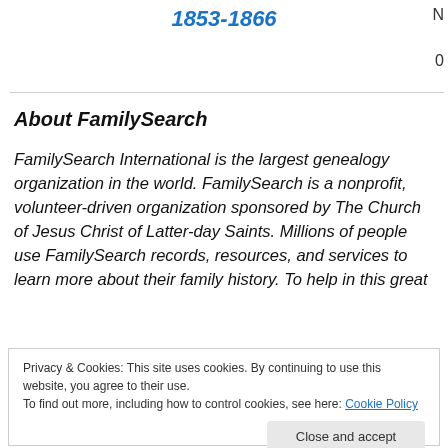1853-1866
About FamilySearch
FamilySearch International is the largest genealogy organization in the world. FamilySearch is a nonprofit, volunteer-driven organization sponsored by The Church of Jesus Christ of Latter-day Saints. Millions of people use FamilySearch records, resources, and services to learn more about their family history. To help in this great
Privacy & Cookies: This site uses cookies. By continuing to use this website, you agree to their use.
To find out more, including how to control cookies, see here: Cookie Policy
Close and accept